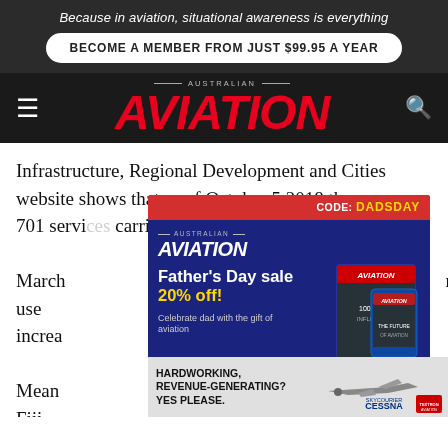Because in aviation, situational awareness is everything
BECOME A MEMBER FROM JUST $99.95 A YEAR
[Figure (logo): Australian Aviation magazine logo in red italic bold font on dark background]
Infrastructure, Regional Development and Cities website shows that as of October 5 2018 there were 701 se... carrie... from March... r use increa...
[Figure (advertisement): Father's Day sale advertisement for Australian Aviation subscription: 20% off with code DADSDAY. 'Celebrate dad with the gift of aviation. GET THE GIFT >']
Mean... d Fiji Airwa... /18 Northern winter season to the four gateways.
[Figure (advertisement): Cessna SkyCourier advertisement: HARDWORKING, REVENUE-GENERATING? YES PLEASE.]